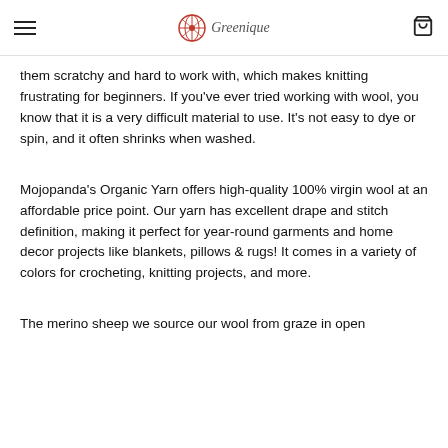Greenique
them scratchy and hard to work with, which makes knitting frustrating for beginners. If you've ever tried working with wool, you know that it is a very difficult material to use. It's not easy to dye or spin, and it often shrinks when washed.
Mojopanda's Organic Yarn offers high-quality 100% virgin wool at an affordable price point. Our yarn has excellent drape and stitch definition, making it perfect for year-round garments and home decor projects like blankets, pillows & rugs! It comes in a variety of colors for crocheting, knitting projects, and more.
The merino sheep we source our wool from graze in open